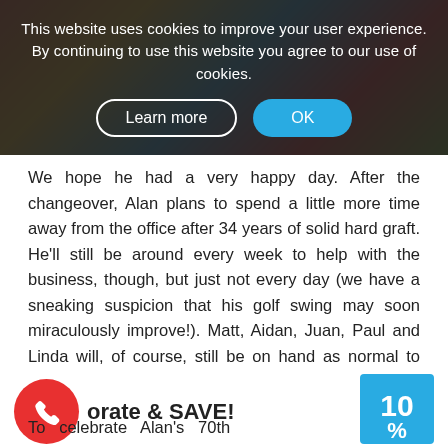This website uses cookies to improve your user experience. By continuing to use this website you agree to our use of cookies.
[Figure (screenshot): Cookie consent banner with two buttons: 'Learn more' (outlined white button) and 'OK' (blue button)]
We hope he had a very happy day. After the changeover, Alan plans to spend a little more time away from the office after 34 years of solid hard graft. He'll still be around every week to help with the business, though, but just not every day (we have a sneaking suspicion that his golf swing may soon miraculously improve!). Matt, Aidan, Juan, Paul and Linda will, of course, still be on hand as normal to help with design, printing, duplication, production and general fulfilment of orders.
But there's one last thing! And you'll like this ...
orate & SAVE!
To   celebrate   Alan's   70th
[Figure (other): Blue square badge showing 10%]